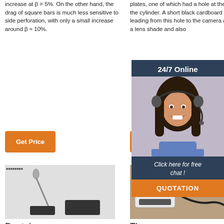increase at β = 5%. On the other hand, the drag of square bars is much less sensitive to side perforation, with only a small increase around β ≈ 10%.
plates, one of which had a hole at the axis of the cylinder. A short black cardboard tube leading from this hole to the camera acted as a lens shade and also
element method to solve the underlying governing equations and the associ... probler... bounda... conditi...
[Figure (other): 24/7 Online support overlay panel with woman wearing headset, 'Click here for free chat!' text, and QUOTATION button]
Get Price
Get Price
Get
[Figure (photo): Dental tool/instrument product photo on light background with Korean text]
[Figure (photo): Three-part blue and white dental micromotor device with accessories on brown background]
[Figure (photo): Blue dental handpiece/drill tool with TOP logo on green background]
Dental
Three-
Dental